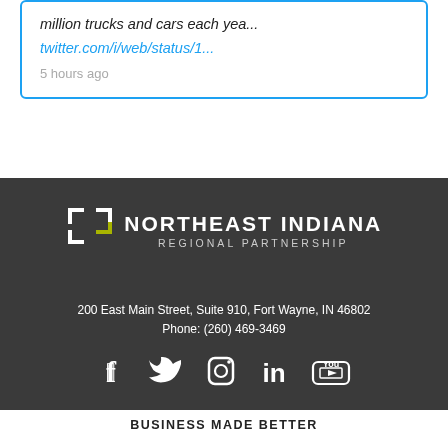million trucks and cars each yea...
twitter.com/i/web/status/1...
5 hours ago
[Figure (logo): Northeast Indiana Regional Partnership logo with bracket icon in white and yellow-green]
200 East Main Street, Suite 910, Fort Wayne, IN 46802
Phone: (260) 469-3469
[Figure (other): Social media icons: Facebook, Twitter, Instagram, LinkedIn, YouTube]
BUSINESS MADE BETTER